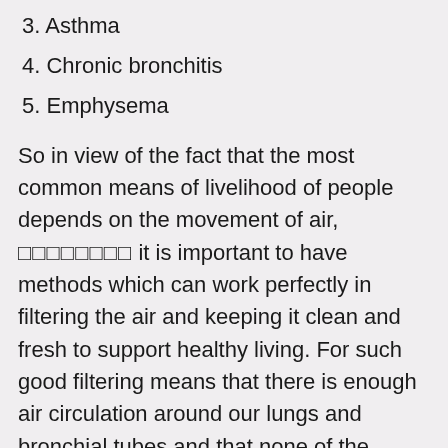3. Asthma
4. Chronic bronchitis
5. Emphysema
So in view of the fact that the most common means of livelihood of people depends on the movement of air, □□□□□□□□ it is important to have methods which can work perfectly in filtering the air and keeping it clean and fresh to support healthy living. For such good filtering means that there is enough air circulation around our lungs and bronchial tubes and that none of the harmful particles get sucked in. With an electrostatic purifier, there is enough Juice flowing round the coil which in turn produces clean and fresh air. These are very useful for